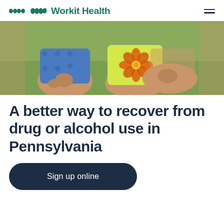Workit Health
[Figure (photo): Close-up photo of two people sitting cross-legged outdoors on grass; one person wearing a blue patterned top and another wearing a yellow top with a large orange flower/daisy print. Their hands and laps are visible.]
A better way to recover from drug or alcohol use in Pennsylvania
Sign up online